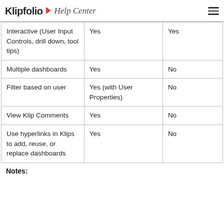Klipfolio Help Center
| Interactive (User Input Controls, drill down, tool tips) | Yes | Yes |
| Multiple dashboards | Yes | No |
| Filter based on user | Yes (with User Properties) | No |
| View Klip Comments | Yes | No |
| Use hyperlinks in Klips to add, reuse, or replace dashboards | Yes | No |
Notes: